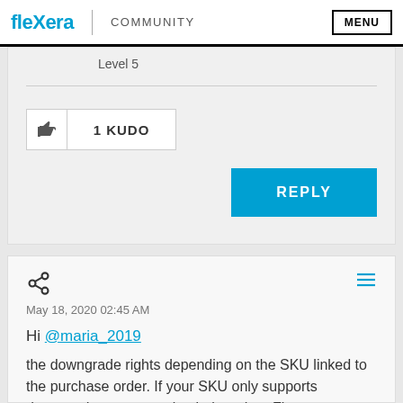Flexera | COMMUNITY   MENU
Level 5
1 KUDO
REPLY
May 18, 2020 02:45 AM
Hi @maria_2019
the downgrade rights depending on the SKU linked to the purchase order. If your SKU only supports downgrade to one version below, then Flexera